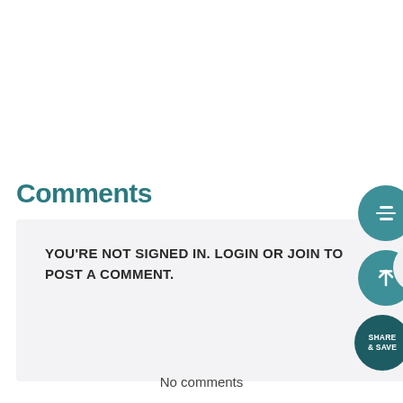Comments
YOU'RE NOT SIGNED IN. LOGIN OR JOIN TO POST A COMMENT.
[Figure (screenshot): Three floating action buttons on the right side: a teal hamburger/menu button, a teal scroll-to-top button with an arrow, and a dark teal 'SHARE & SAVE' button.]
No comments